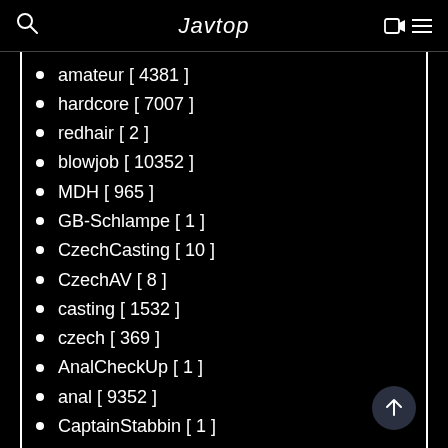Javtop
amateur [ 4381 ]
hardcore [ 7007 ]
redhair [ 2 ]
blowjob [ 10352 ]
MDH [ 965 ]
GB-Schlampe [ 1 ]
CzechCasting [ 10 ]
CzechAV [ 8 ]
casting [ 1532 ]
czech [ 369 ]
AnalCheckUp [ 1 ]
anal [ 9352 ]
CaptainStabbin [ 1 ]
Outdoor [ 422 ]
Seaview [ 1 ]